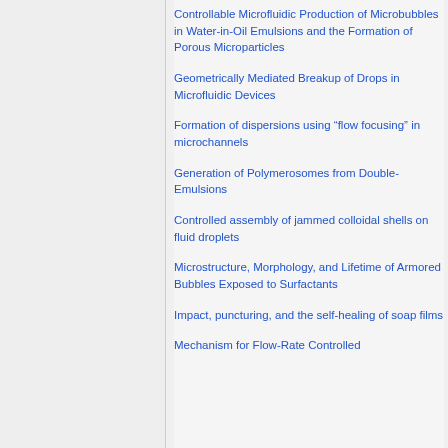Controllable Microfluidic Production of Microbubbles in Water-in-Oil Emulsions and the Formation of Porous Microparticles
Geometrically Mediated Breakup of Drops in Microfluidic Devices
Formation of dispersions using “flow focusing” in microchannels
Generation of Polymerosomes from Double-Emulsions
Controlled assembly of jammed colloidal shells on fluid droplets
Microstructure, Morphology, and Lifetime of Armored Bubbles Exposed to Surfactants
Impact, puncturing, and the self-healing of soap films
Mechanism for Flow-Rate Controlled